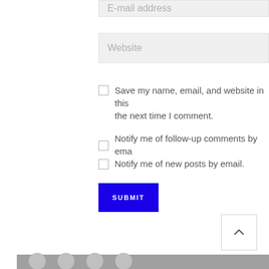E-mail address
Website
Save my name, email, and website in this browser for the next time I comment.
Notify me of follow-up comments by email.
Notify me of new posts by email.
SUBMIT
[Figure (other): Scroll to top button with upward chevron arrow]
Footer bar with social media icons